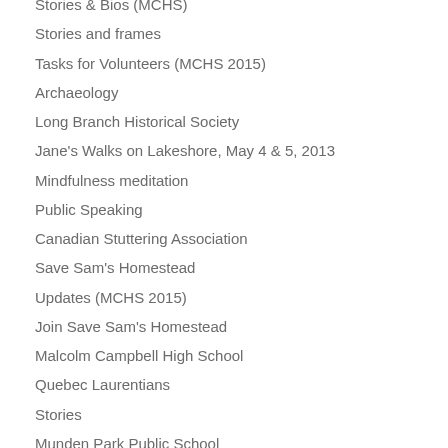Stories & Bios (MCHS)
Stories and frames
Tasks for Volunteers (MCHS 2015)
Archaeology
Long Branch Historical Society
Jane's Walks on Lakeshore, May 4 & 5, 2013
Mindfulness meditation
Public Speaking
Canadian Stuttering Association
Save Sam's Homestead
Updates (MCHS 2015)
Join Save Sam's Homestead
Malcolm Campbell High School
Quebec Laurentians
Stories
Munden Park Public School
Blog 2